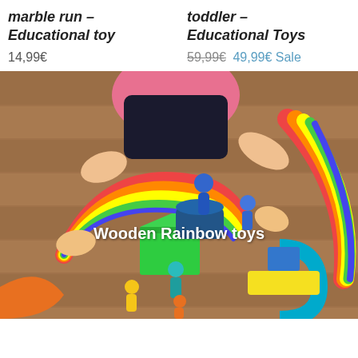marble run – Educational toy
14,99€
toddler – Educational Toys
59,99€  49,99€ Sale
[Figure (photo): Child playing with colorful wooden rainbow toys, blocks, and peg people on a wooden floor. Text overlay reads 'Wooden Rainbow toys'.]